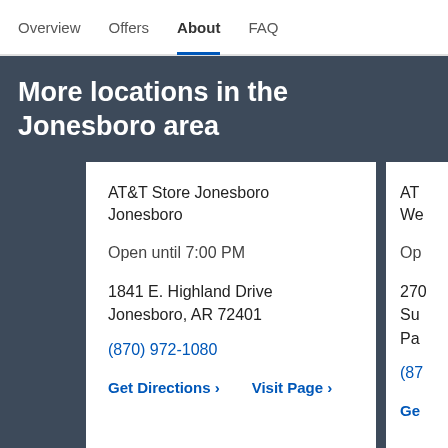Overview | Offers | About | FAQ
More locations in the Jonesboro area
AT&T Store Jonesboro Jonesboro
Open until 7:00 PM
1841 E. Highland Drive
Jonesboro, AR 72401
(870) 972-1080
Get Directions > Visit Page >
AT We Op 270 Su Pa (87 Ge